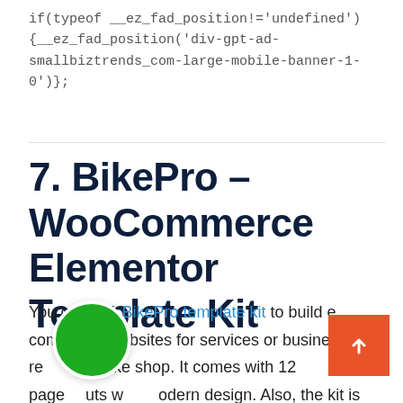if(typeof __ez_fad_position!='undefined'){__ez_fad_position('div-gpt-ad-smallbiztrends_com-large-mobile-banner-1-0')};
7. BikePro – WooCommerce Elementor Template Kit
You can use BikePro template kit to build e commerce websites for services or businesses related to bike shop. It comes with 12 page layouts with modern design. Also, the kit is fully customizable and comes with a responsive